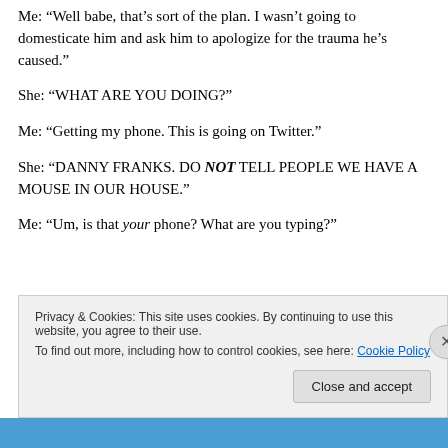Me: “Well babe, that’s sort of the plan. I wasn’t going to domesticate him and ask him to apologize for the trauma he’s caused.”
She: “WHAT ARE YOU DOING?”
Me: “Getting my phone. This is going on Twitter.”
She: “DANNY FRANKS. DO NOT TELL PEOPLE WE HAVE A MOUSE IN OUR HOUSE.”
Me: “Um, is that your phone? What are you typing?”
Privacy & Cookies: This site uses cookies. By continuing to use this website, you agree to their use. To find out more, including how to control cookies, see here: Cookie Policy
Close and accept